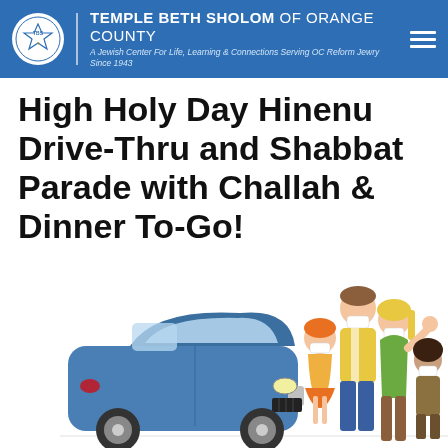TEMPLE BETH SHOLOM OF ORANGE COUNTY – A Jewish Center For Life, Learning & Connections Serving OC Reform Jewry Since 1943
High Holy Day Hinenu Drive-Thru and Shabbat Parade with Challah & Dinner To-Go!
[Figure (illustration): Cartoon illustration of a family of four wearing face masks standing next to a blue compact car. The family includes two parents and two children. The father is tall with brown hair, the mother has blonde hair and is waving, one child is a girl with orange hair wearing an orange skirt, and the other is a boy with dark curly hair.]